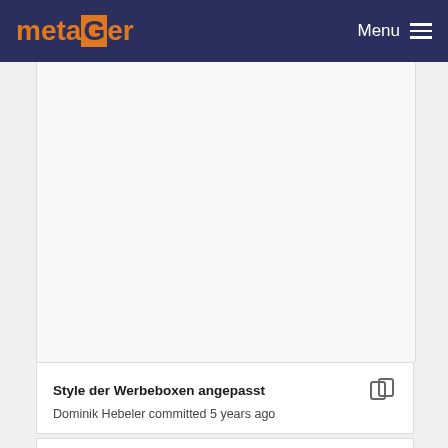metaGer  Menu
[Figure (screenshot): Large white/light grey empty content panel area below the metaGer navigation header]
Style der Werbeboxen angepasst
Dominik Hebeler committed 5 years ago
alte Ergebnis-styles ersetzt